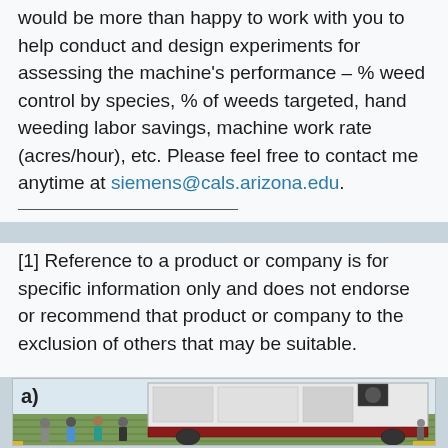would be more than happy to work with you to help conduct and design experiments for assessing the machine's performance – % weed control by species, % of weeds targeted, hand weeding labor savings, machine work rate (acres/hour), etc. Please feel free to contact me anytime at siemens@cals.arizona.edu.
[1] Reference to a product or company is for specific information only and does not endorse or recommend that product or company to the exclusion of others that may be suitable.
[Figure (photo): Photo labeled 'a)' showing a large white agricultural machine on a field with a group of people standing around it. The machine appears to be a robotic weeding machine being demonstrated in a crop field.]